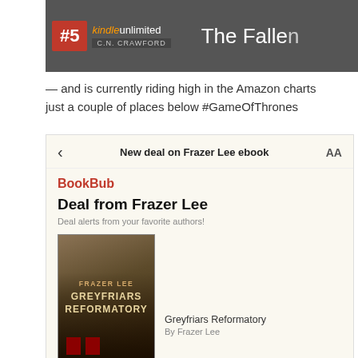[Figure (screenshot): Amazon Kindle chart screenshot showing #5 ranking with Kindle Unlimited banner and partial text 'The Fallen']
— and is currently riding high in the Amazon charts just a couple of places below #GameOfThrones
[Figure (screenshot): BookBub app screenshot showing 'New deal on Frazer Lee ebook' with BookBub branding, 'Deal from Frazer Lee', 'Deal alerts from your favorite authors!', and book cover for Greyfriars Reformatory by Frazer Lee]